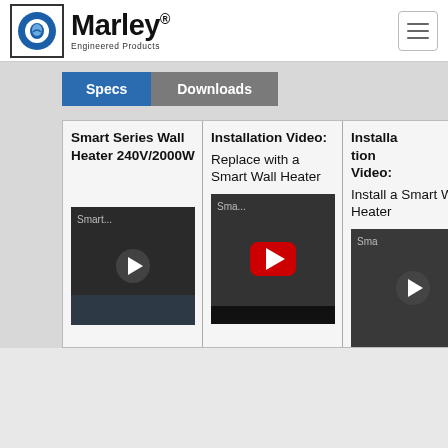[Figure (logo): Marley Engineered Products logo with blue circular icon and bold Marley wordmark]
Specs
Downloads
| Smart Series Wall Heater 240V/2000W | Installation Video: Replace with a Smart Wall Heater | Installation Video: Install a Smart Wall Heater |
| --- | --- | --- |
| [video thumbnail] | [video thumbnail] | [video thumbnail] |